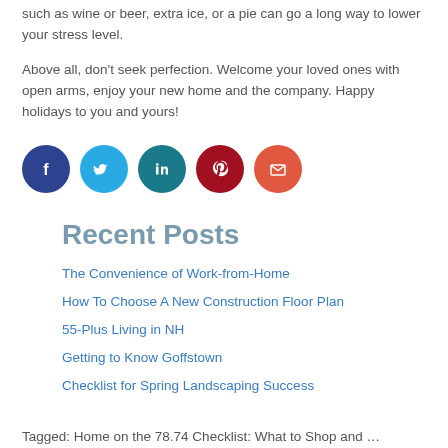such as wine or beer, extra ice, or a pie can go a long way to lower your stress level.
Above all, don't seek perfection. Welcome your loved ones with open arms, enjoy your new home and the company. Happy holidays to you and yours!
[Figure (infographic): Row of 5 social media share icons: Facebook (dark navy blue), Twitter (light blue), LinkedIn (teal/dark cyan), Pinterest (dark red), Email (orange-red)]
Recent Posts
The Convenience of Work-from-Home
How To Choose A New Construction Floor Plan
55-Plus Living in NH
Getting to Know Goffstown
Checklist for Spring Landscaping Success
Tagged: Home on the 78.74 Checklist: What to Shop and …